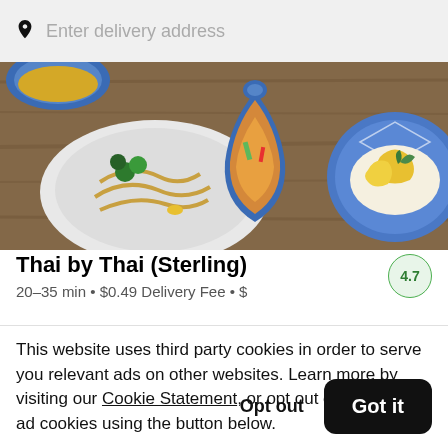Enter delivery address
[Figure (photo): Top-down view of Thai food dishes on a wooden table: noodles with broccoli on a white plate, a curry dish in a decorative teardrop bowl, and mango sticky rice on a blue patterned plate]
Thai by Thai (Sterling)
20–35 min • $0.49 Delivery Fee • $
4.7
This website uses third party cookies in order to serve you relevant ads on other websites. Learn more by visiting our Cookie Statement, or opt out of third party ad cookies using the button below.
Opt out
Got it